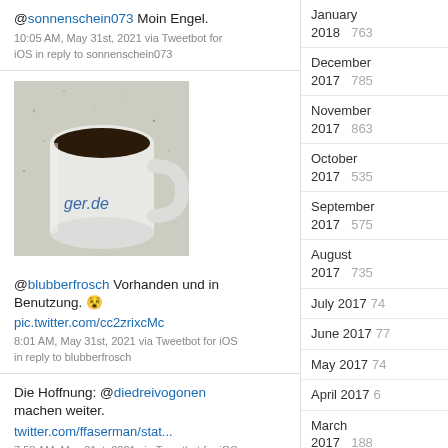@sonnenschein073 Moin Engel.
10:05 AM, May 31st, 2021 via Tweetbot for iOS in reply to sonnenschein073
[Figure (photo): Photo of a white coffee mug with dark coffee inside, sitting on a granite surface. The mug has blue text reading 'ger.de' on its side.]
@blubberfrosch Vorhanden und in Benutzung. 😵 pic.twitter.com/cc2zrixcMc
8:01 AM, May 31st, 2021 via Tweetbot for iOS in reply to blubberfrosch
Die Hoffnung: @diedreivogonen machen weiter. twitter.com/ffaserman/stat...
7:58 AM, May 31st, 2021 via Tweetbot for iOS
January 2018   763
December 2017   785
November 2017   863
October 2017   535
September 2017   575
August 2017   735
July 2017   74
June 2017   77
May 2017   74
April 2017   6
March 2017   188
February 2017   187